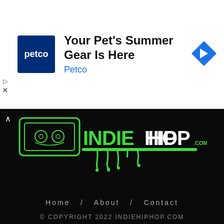[Figure (screenshot): Petco advertisement banner with Petco logo (dark blue square with 'petco' text), headline 'Your Pet's Summer Gear Is Here', brand name 'Petco' in blue, and a blue diamond navigation arrow icon on the right. Ad controls (play and X) on the left.]
[Figure (logo): IndieHipHop.com logo: illustrated cassette tape in green outline on the left, with 'INDIEHIPHOP' text (green 'INDIE', white 'HIPHOP') and '.com' in green, with green graffiti-style drip paint below]
Home / About / Contact
© COPYRIGHT 2022 INDIEHIPHOP.COM